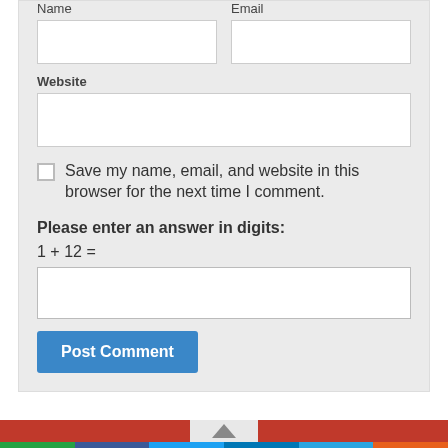Name
Email
Website
Save my name, email, and website in this browser for the next time I comment.
Please enter an answer in digits:
Post Comment
[Figure (screenshot): Social sharing bar with WhatsApp (green), Facebook (dark blue), Twitter (light blue), LinkedIn (navy), Telegram (teal), and More/Plus (orange) buttons]